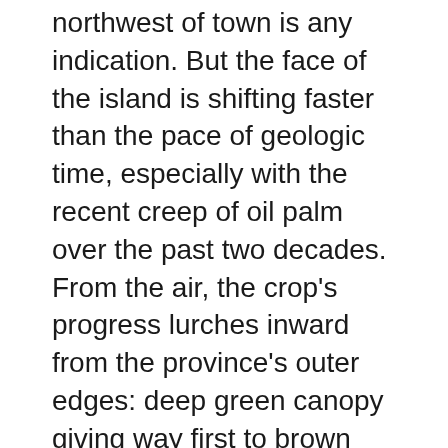northwest of town is any indication. But the face of the island is shifting faster than the pace of geologic time, especially with the recent creep of oil palm over the past two decades. From the air, the crop's progress lurches inward from the province's outer edges: deep green canopy giving way first to brown earth and splintering logging roads and then to neat rows of the drooping, top-heavy trees that produce the world's most popular vegetable oil.
The dense forests that covered more than 98% of the province as recently as 2010 have begun to wink out, according to satellite data. Tongne said that oil palm companies began building roads and clearing forest for plantations in East Pomio around 2008. Today,